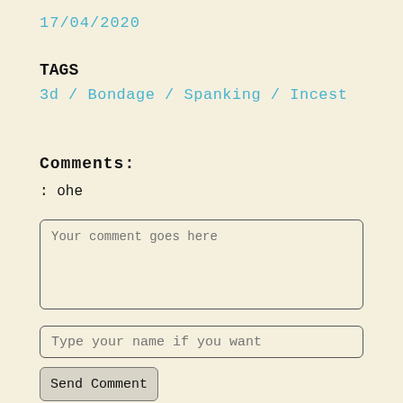17/04/2020
TAGS
3d / Bondage / Spanking / Incest
Comments:
: ohe
Your comment goes here
Type your name if you want
Send Comment